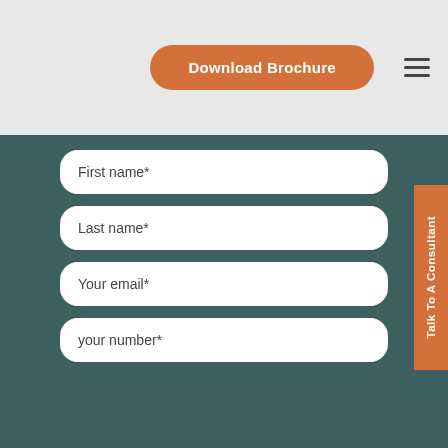[Figure (screenshot): Header bar with Download Brochure orange button and hamburger menu icon on grey background]
First name*
Last name*
Your email*
your number*
Talk To A Consultant
Request A Hard Copy?:
No